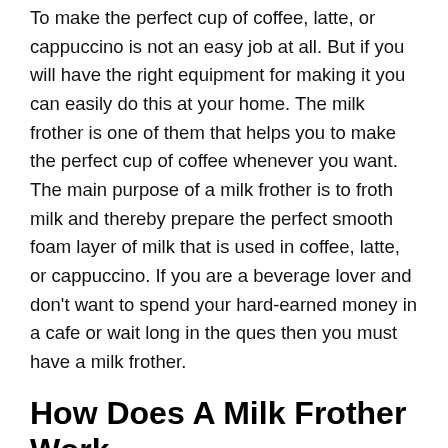To make the perfect cup of coffee, latte, or cappuccino is not an easy job at all. But if you will have the right equipment for making it you can easily do this at your home. The milk frother is one of them that helps you to make the perfect cup of coffee whenever you want. The main purpose of a milk frother is to froth milk and thereby prepare the perfect smooth foam layer of milk that is used in coffee, latte, or cappuccino. If you are a beverage lover and don't want to spend your hard-earned money in a cafe or wait long in the ques then you must have a milk frother.
How Does A Milk Frother Work
Both over online and in the market you will get several options for a milk frother. Usually, there you will see three types of milk frothers that include electric frothers, manual frothers, and the handheld milk frothers. All of the milk frothers mix the air with milk to increase the volume of the milk. Thereby it produces